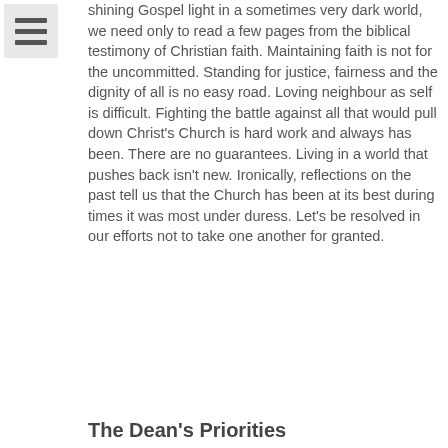[Figure (other): Hamburger menu icon - three horizontal lines on a light gray square background]
shining Gospel light in a sometimes very dark world, we need only to read a few pages from the biblical testimony of Christian faith. Maintaining faith is not for the uncommitted. Standing for justice, fairness and the dignity of all is no easy road. Loving neighbour as self is difficult. Fighting the battle against all that would pull down Christ's Church is hard work and always has been. There are no guarantees. Living in a world that pushes back isn't new. Ironically, reflections on the past tell us that the Church has been at its best during times it was most under duress. Let's be resolved in our efforts not to take one another for granted.
The Dean's Priorities